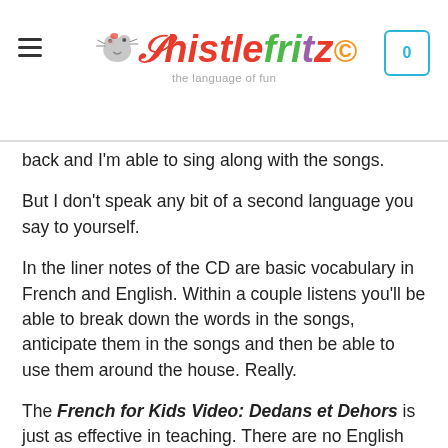Whistlefritz — the language of fun
back and I'm able to sing along with the songs.
But I don't speak any bit of a second language you say to yourself.
In the liner notes of the CD are basic vocabulary in French and English. Within a couple listens you'll be able to break down the words in the songs, anticipate them in the songs and then be able to use them around the house. Really.
The French for Kids Video: Dedans et Dehors is just as effective in teaching. There are no English subtitles when they're teaching vocabulary. If the host is teaching you 'pomme' then they'll show you an apple and say 'pomme' in context. The image will be...